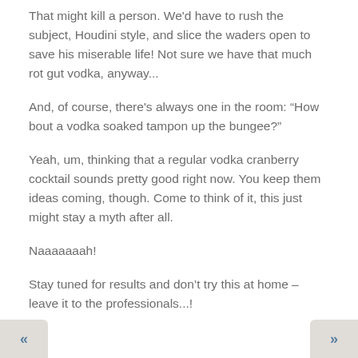That might kill a person. We'd have to rush the subject, Houdini style, and slice the waders open to save his miserable life! Not sure we have that much rot gut vodka, anyway...
And, of course, there's always one in the room: “How bout a vodka soaked tampon up the bungee?”
Yeah, um, thinking that a regular vodka cranberry cocktail sounds pretty good right now. You keep them ideas coming, though. Come to think of it, this just might stay a myth after all.
Naaaaaaah!
Stay tuned for results and don’t try this at home – leave it to the professionals...!
« »